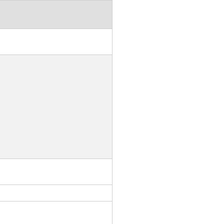| Field | Value |
| --- | --- |
| ArticleAuthors | Maksimo... Zavarina... |
| ArticleAuthorsData | Mekhano... Maksimo... Scientific... Professor... Otrozhde... in Engine... Tasina T... Zavarina... Yegorov... E-mail (c... |
| ArticleName | Outote... base m... |
| ArticleAuthors | Mashevs... |
| ArticleAuthorsData | Outotec p... Mashevs... Engineer... gennadyy... Romane... Sergey.F... |
| ANALYTICAL MET... PR... |  |